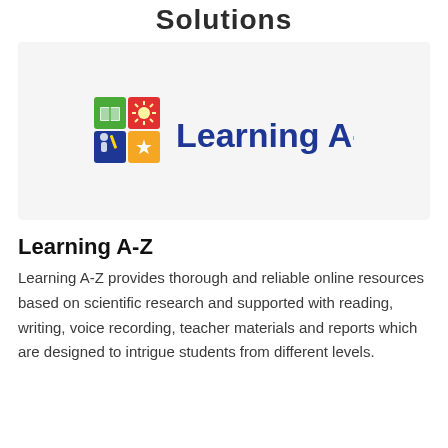Solutions
[Figure (logo): Learning A-Z logo: colorful puzzle-piece icon with sun design followed by 'Learning A-Z' in bold dark blue text]
Learning A-Z
Learning A-Z provides thorough and reliable online resources based on scientific research and supported with reading, writing, voice recording, teacher materials and reports which are designed to intrigue students from different levels.